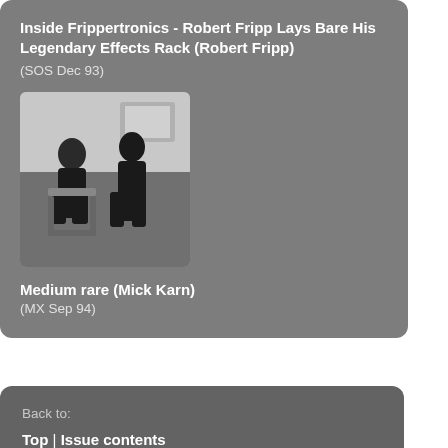Inside Frippertronics - Robert Fripp Lays Bare His Legendary Effects Rack (Robert Fripp)
(SOS Dec 93)
[Figure (photo): Black and white photo of two people sitting in a room with equipment in the background]
Medium rare (Mick Karn)
(MX Sep 94)
Back to:
Top | Issue contents
Previous Article in this issue
How It Works - Digital Audio
Next article in this issue
The Snap Shot Mix